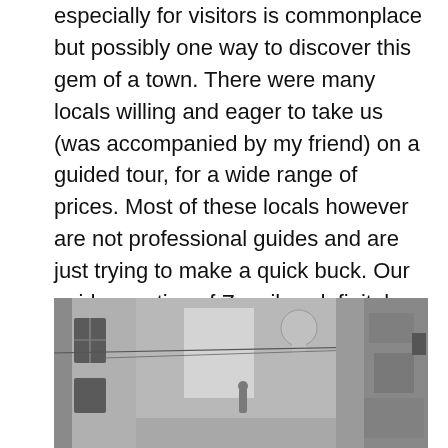especially for visitors is commonplace but possibly one way to discover this gem of a town. There were many locals willing and eager to take us (was accompanied by my friend) on a guided tour, for a wide range of prices. Most of these locals however are not professional guides and are just trying to make a quick buck. Our guide a native of Zanzibar definitely knew his way around; a certified guide who had studied tourism evident from the badge carried around his neck. His knowledge of the smaller details of some of Stone commonplace architectural features as well as the overall historical picture made for a fascinating tour.
[Figure (photo): A narrow alleyway in Stone Town, Zanzibar, showing old weathered buildings on both sides. Black and white / desaturated photograph with buildings close together, a glimpse of sky above, and aged stone walls.]